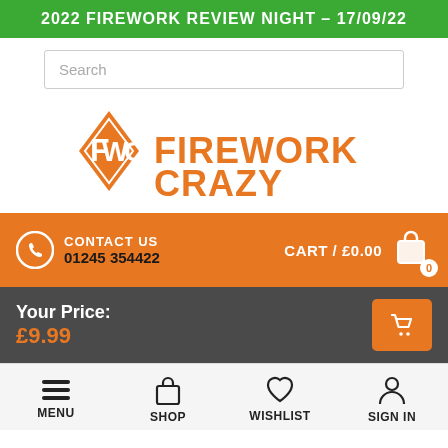2022 FIREWORK REVIEW NIGHT – 17/09/22
[Figure (screenshot): Search bar input field]
[Figure (logo): FWC Firework Crazy logo with orange diamond and stylized text]
CONTACT US
01245 354422
CART / £0.00
Your Price:
£9.99
MENU
SHOP
WISHLIST
SIGN IN